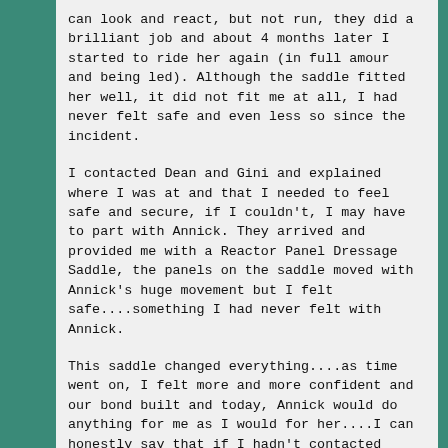can look and react, but not run, they did a brilliant job and about 4 months later I started to ride her again (in full amour and being led). Although the saddle fitted her well, it did not fit me at all, I had never felt safe and even less so since the incident.
I contacted Dean and Gini and explained where I was at and that I needed to feel safe and secure, if I couldn't, I may have to part with Annick. They arrived and provided me with a Reactor Panel Dressage Saddle, the panels on the saddle moved with Annick's huge movement but I felt safe....something I had never felt with Annick.
This saddle changed everything....as time went on, I felt more and more confident and our bond built and today, Annick would do anything for me as I would for her....I can honestly say that if I hadn't contacted Dean and Gini, Annick and I would not be together today.
These girls are my life and I am so happy to be working as a Saddle Exchange Agent, and look forward to changing riders